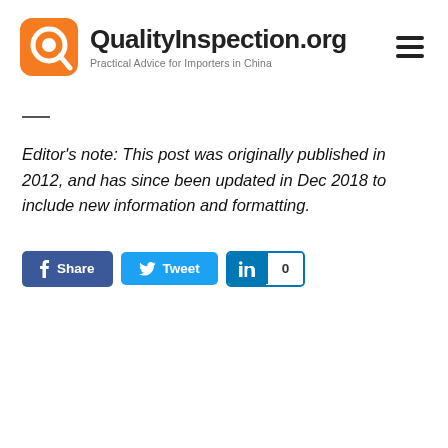[Figure (logo): QualityInspection.org logo with orange rounded square icon and text 'QualityInspection.org' with tagline 'Practical Advice for Importers in China']
Editor's note: This post was originally published in 2012, and has since been updated in Dec 2018 to include new information and formatting.
[Figure (other): Social sharing buttons: Share (Facebook), Tweet (Twitter), LinkedIn with count 0]